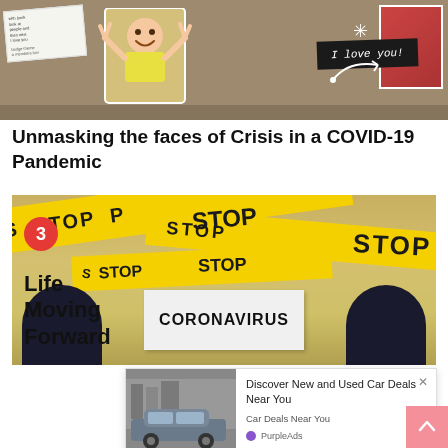[Figure (photo): Photo collage showing a child in yellow shirt making bunny ears pose, with polaroid-style photos, a dark card reading 'I love you!' and decorative elements]
Unmasking the faces of Crisis in a COVID-19 Pandemic
[Figure (photo): Person holding a sign reading CORONAVIRUS surrounded by yellow STOP tape, with number badge 3 overlay]
Life Moving Forward
[Figure (screenshot): Advertisement overlay: Discover New and Used Car Deals Near You - Car Deals Near You - PurpleAds, with car image]